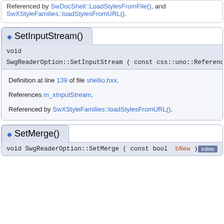Referenced by SwDocShellLoadStylesFromFile(), and SwXStyleFamilies::loadStylesFromURL().
SetInputStream()
void
SwgReaderOption::SetInputStream ( const css::uno::Reference< css...
Definition at line 139 of file shellio.hxx.
References m_xInputStream.
Referenced by SwXStyleFamilies::loadStylesFromURL().
SetMerge()
void SwgReaderOption::SetMerge ( const bool  bNew )  inline